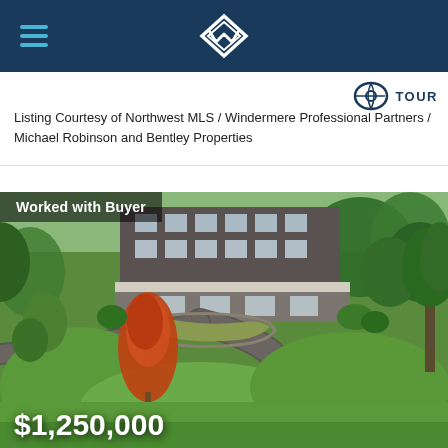Windermere Real Estate header with logo and hamburger menu
Listing Courtesy of Northwest MLS / Windermere Professional Partners / Michael Robinson and Bentley Properties
[Figure (photo): Aerial view of a large residential property with a multi-story house, curved driveway, lush green lawn, ornamental trees with red and green foliage, landscaped gardens with stone edging, and a pond/water feature in the lower right corner.]
Worked with Buyer
$1,250,000